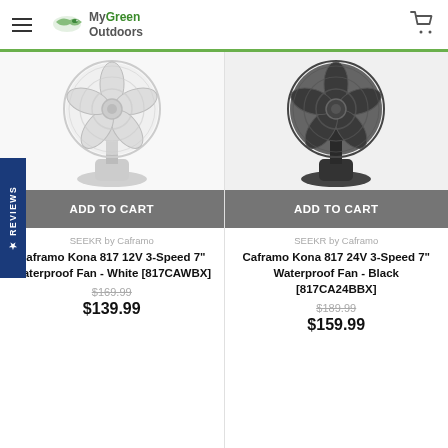MyGreen Outdoors
[Figure (screenshot): White portable fan product image - Caframo Kona 817 12V]
ADD TO CART
SEEKR by Caframo
Caframo Kona 817 12V 3-Speed 7" Waterproof Fan - White [817CAWBX]
$169.99
$139.99
[Figure (screenshot): Black portable fan product image - Caframo Kona 817 24V]
ADD TO CART
SEEKR by Caframo
Caframo Kona 817 24V 3-Speed 7" Waterproof Fan - Black [817CA24BBX]
$189.99
$159.99